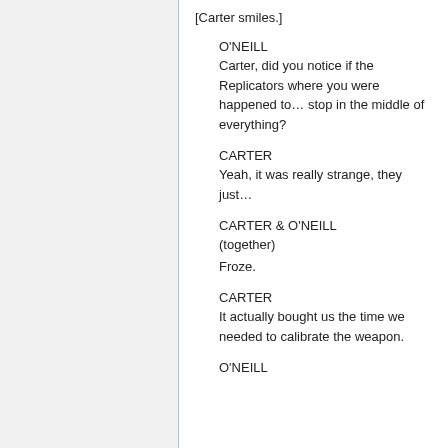[Carter smiles.]
O'NEILL
Carter, did you notice if the Replicators where you were happened to… stop in the middle of everything?
CARTER
Yeah, it was really strange, they just…
CARTER & O'NEILL
(together)
Froze.
CARTER
It actually bought us the time we needed to calibrate the weapon.
O'NEILL